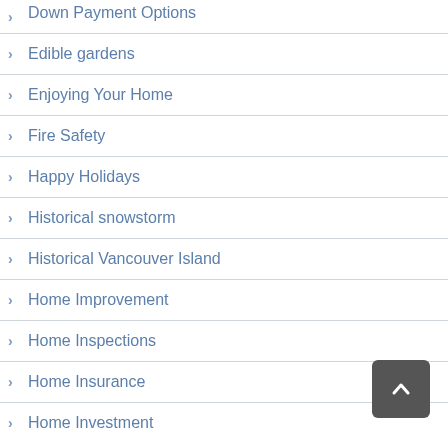Down Payment Options
Edible gardens
Enjoying Your Home
Fire Safety
Happy Holidays
Historical snowstorm
Historical Vancouver Island
Home Improvement
Home Inspections
Home Insurance
Home Investment